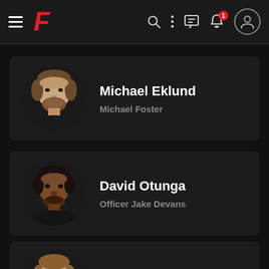F [app navigation bar with hamburger menu, logo F, search, more options, chat, notifications (1), profile]
[Figure (photo): Circular portrait photo of Michael Eklund, a white male with brown hair and beard]
Michael Eklund
Michael Foster
[Figure (photo): Circular portrait photo of David Otunga, a Black male with short hair and beard]
David Otunga
Officer Jake Devans
[Figure (photo): Partial circular portrait photo of a third cast member, partially visible at bottom of screen]